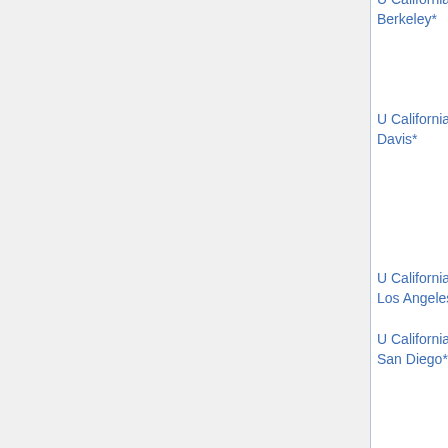| Institution | Type | Date | Names |
| --- | --- | --- | --- |
| U California, Berkeley* | various (2)(u) | Nov 1 | Jusche...
Lillian...
Vivek...
Shend...
Charle... |
| U California, Davis* | various (o) | Nov 30 | David...
Anders...
Elena...
Ji-Oon...
Kevin...
Chris P...
□ |
| U California, Los Angeles* | various (o) | Jan 28 | Charle... |
| U California, San Diego* | rep thy, num thy, appl (2)(u) | Nov 1 | Blanca de Dio...
Hubert...
Andrev...
Lillian...
Gideon...
Simps...
Claus... |